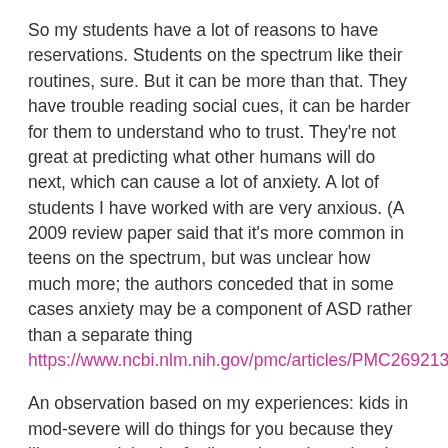So my students have a lot of reasons to have reservations. Students on the spectrum like their routines, sure. But it can be more than that. They have trouble reading social cues, it can be harder for them to understand who to trust. They're not great at predicting what other humans will do next, which can cause a lot of anxiety. A lot of students I have worked with are very anxious. (A 2009 review paper said that it's more common in teens on the spectrum, but was unclear how much more; the authors conceded that in some cases anxiety may be a component of ASD rather than a separate thing https://www.ncbi.nlm.nih.gov/pmc/articles/PMC2692135/)
An observation based on my experiences: kids in mod-severe will do things for you because they like you and they're feeling calm and regulated, so it's easy. They will not do things for you because you're the adult. Appeals to authority almost never work. They flatly don't care.
(And I kind of love this about them. Why should they? As a